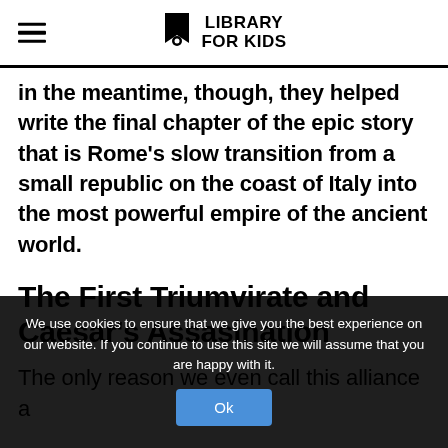Library For Kids
In the meantime, though, they helped write the final chapter of the epic story that is Rome's slow transition from a small republic on the coast of Italy into the most powerful empire of the ancient world.
The First Triumvirate and Caesar's Assasination
The only reason we even call this alliance a
We use cookies to ensure that we give you the best experience on our website. If you continue to use this site we will assume that you are happy with it.